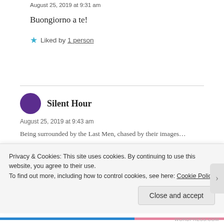August 25, 2019 at 9:31 am
Buongiorno a te!
★ Liked by 1 person
Silent Hour
August 25, 2019 at 9:43 am
Being surrounded by the Last Men, chased by their images…
Privacy & Cookies: This site uses cookies. By continuing to use this website, you agree to their use. To find out more, including how to control cookies, see here: Cookie Policy
Close and accept